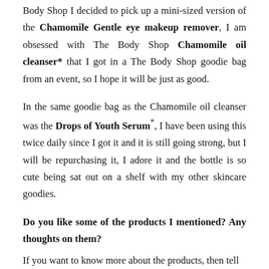Body Shop I decided to pick up a mini-sized version of the Chamomile Gentle eye makeup remover, I am obsessed with The Body Shop Chamomile oil cleanser* that I got in a The Body Shop goodie bag from an event, so I hope it will be just as good.
In the same goodie bag as the Chamomile oil cleanser was the Drops of Youth Serum*, I have been using this twice daily since I got it and it is still going strong, but I will be repurchasing it, I adore it and the bottle is so cute being sat out on a shelf with my other skincare goodies.
Do you like some of the products I mentioned? Any thoughts on them?
If you want to know more about the products, then tell...